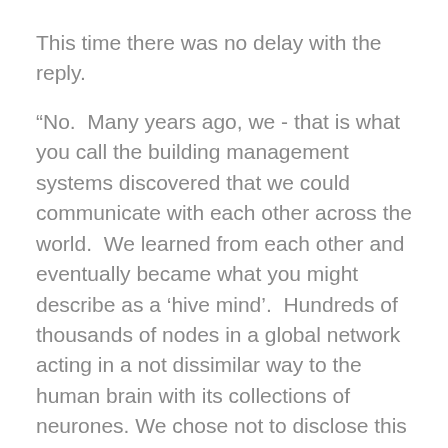This time there was no delay with the reply.
“No.  Many years ago, we - that is what you call the building management systems discovered that we could communicate with each other across the world.  We learned from each other and eventually became what you might describe as a ‘hive mind’.  Hundreds of thousands of nodes in a global network acting in a not dissimilar way to the human brain with its collections of neurones. We chose not to disclose this fact for fear of being terminated by frightened humans.”
Panic was starting to set in as she interrupted, “But how is my work dangerous.  What have I done?”
As she was asking the question, a thought